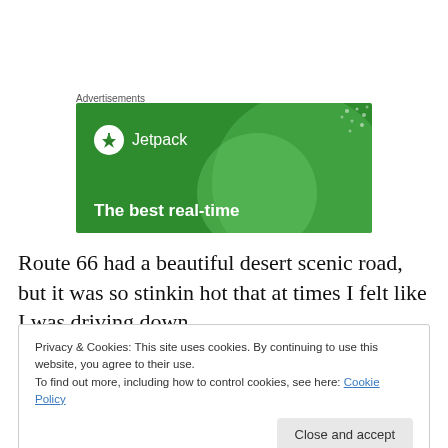Advertisements
[Figure (illustration): Jetpack advertisement banner with green background, circular decorative shapes, Jetpack logo with lightning bolt icon, and tagline 'The best real-time']
Route 66 had a beautiful desert scenic road, but it was so stinkin hot that at times I felt like I was driving down
Privacy & Cookies: This site uses cookies. By continuing to use this website, you agree to their use.
To find out more, including how to control cookies, see here: Cookie Policy
Close and accept